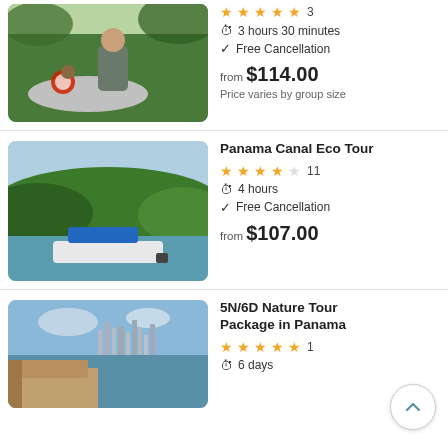[Figure (photo): Man holding food with a monkey on a boat, jungle background]
3 hours 30 minutes
Free Cancellation
from $114.00
Price varies by group size
[Figure (photo): Boat on a river with green hills in background]
Panama Canal Eco Tour
11
4 hours
Free Cancellation
from $107.00
[Figure (photo): Aerial view of Panama City skyline and historic area]
5N/6D Nature Tour Package in Panama
1
6 days